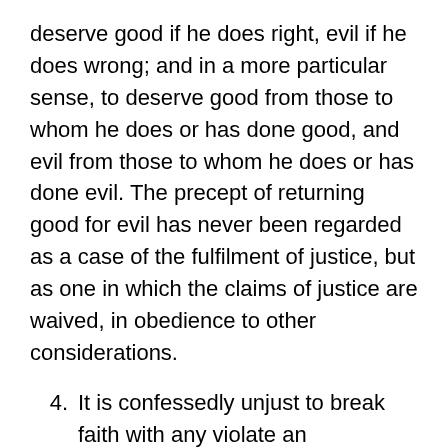deserve good if he does right, evil if he does wrong; and in a more particular sense, to deserve good from those to whom he does or has done good, and evil from those to whom he does or has done evil. The precept of returning good for evil has never been regarded as a case of the fulfilment of justice, but as one in which the claims of justice are waived, in obedience to other considerations.
4. It is confessedly unjust to break faith with any one= to violate an engagement, either express or implied, or disappoint expectations raised by our own conduct, at least if we have raised those expectations knowingly and voluntarily. Like the other obligations of justice already spoken of, this one is not regarded as absolute, but as capable of being overruled by a stronger obligation of justice on the other side; or by such conduct on the part